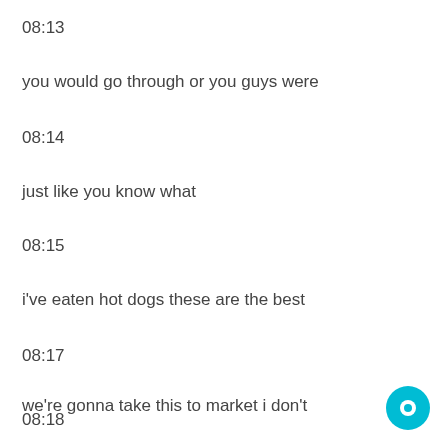08:13
you would go through or you guys were
08:14
just like you know what
08:15
i've eaten hot dogs these are the best
08:17
we're gonna take this to market i don't
08:18